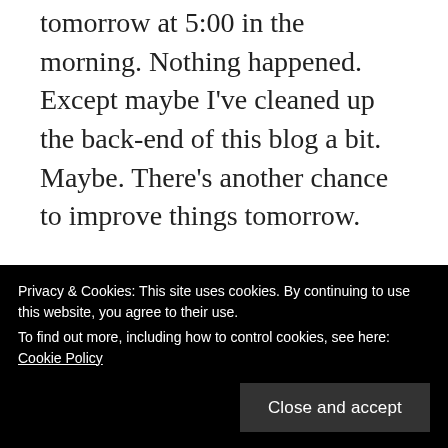tomorrow at 5:00 in the morning. Nothing happened. Except maybe I've cleaned up the back-end of this blog a bit. Maybe. There's another chance to improve things tomorrow.
APRIL 24, 2020
covid days : 24 April + Ubuntu
5:05+
this weekend. New features look goo
Privacy & Cookies: This site uses cookies. By continuing to use this website, you agree to their use.
To find out more, including how to control cookies, see here: Cookie Policy
Close and accept